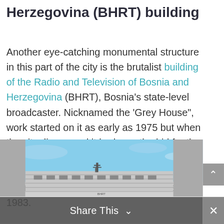Herzegovina (BHRT) building
Another eye-catching monumental structure in this part of the city is the brutalist building of the Radio and Television of Bosnia and Herzegovina (BHRT), Bosnia's state-level broadcaster. Nicknamed the 'Grey House", work started on it as early as 1975 but when the city discovered it had won the bid for the '84 Olympics, the facility was modified to handle the up and coming event. Work on this meaty structure was finally completed in 1983.
[Figure (photo): Partial view of the BHRT building against a blue sky background, showing the top portion of the brutalist structure with antennas/equipment visible on the roof]